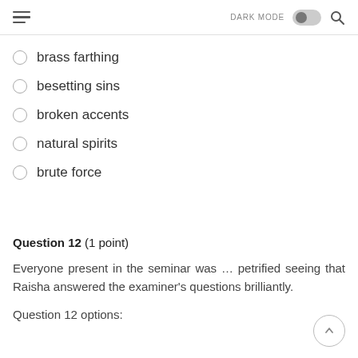DARK MODE [toggle] [search]
brass farthing
besetting sins
broken accents
natural spirits
brute force
Question 12 (1 point)
Everyone present in the seminar was … petrified seeing that Raisha answered the examiner's questions brilliantly.
Question 12 options: